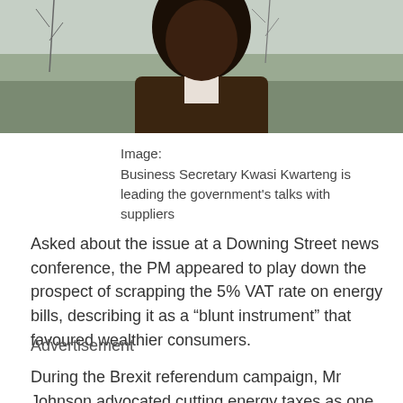[Figure (photo): A Black man photographed outdoors in winter, wearing a brown jacket, with bare trees and grey sky in the background. The image is cropped at the top of the page showing only the face and upper body.]
Image:
Business Secretary Kwasi Kwarteng is leading the government's talks with suppliers
Asked about the issue at a Downing Street news conference, the PM appeared to play down the prospect of scrapping the 5% VAT rate on energy bills, describing it as a “blunt instrument” that favoured wealthier consumers.
Advertisement
During the Brexit referendum campaign, Mr Johnson advocated cutting energy taxes as one of the dividends of leaving the EU.